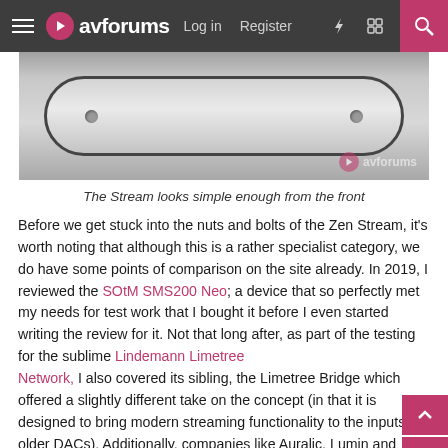avforums  Log in  Register
[Figure (photo): Close-up photo of the front of the iFi Zen Stream device, showing a brushed aluminum surface with rounded black edges and two small circular indicator lights. An avforums watermark appears in the bottom-right corner.]
The Stream looks simple enough from the front
Before we get stuck into the nuts and bolts of the Zen Stream, it's worth noting that although this is a rather specialist category, we do have some points of comparison on the site already. In 2019, I reviewed the SOtM SMS200 Neo; a device that so perfectly met my needs for test work that I bought it before I even started writing the review for it. Not that long after, as part of the testing for the sublime Lindemann Limetree Network, I also covered its sibling, the Limetree Bridge which offered a slightly different take on the concept (in that it is designed to bring modern streaming functionality to the inputs of older DACs). Additionally, companies like Auralic, Lumin and Chord Electronics also have their takes on the concept too.